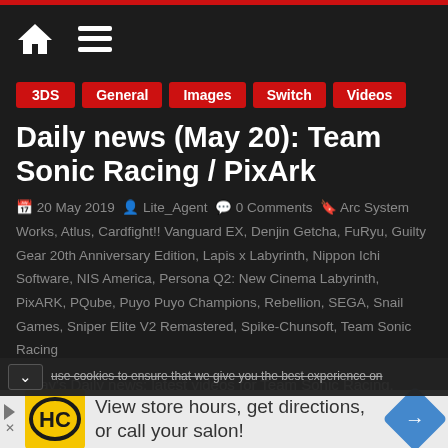Navigation bar with home icon and menu icon
3DS
General
Images
Switch
Videos
Daily news (May 20): Team Sonic Racing / PixArk
20 May 2019  Lite_Agent  0 Comments  Arc System Works, Atlus, Cardfight!! Vanguard EX, Denjin Getcha, FuRyu, Guilty Gear 20th Anniversary Edition, Lapis x Labyrinth, Nippon Ichi Software, NIS America, Persona Q2: New Cinema Labyrinth, PixARK, PQube, Puyo Puyo Champions, Rebellion, SEGA, Snail Games, Sniper Elite V2 Remastered, Spike-Chunsoft, Team Sonic Racing
Today's Daily news: latest videos for Team Sonic Racing, latest screenshots for PixArk, latest character profile for
use cookies to ensure that we give you the best experience on
[Figure (other): Advertisement banner: HC logo (yellow background), text 'View store hours, get directions, or call your salon!', blue diamond navigation icon]